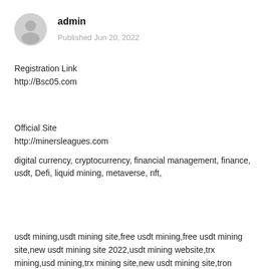[Figure (illustration): Gray circular avatar placeholder icon representing a user/admin profile photo]
admin
Published Jun 20, 2022
Registration Link
http://Bsc05.com
Official Site
http://minersleagues.com
digital currency, cryptocurrency, financial management, finance, usdt, Defi, liquid mining, metaverse, nft,
usdt mining,usdt mining site,free usdt mining,free usdt mining site,new usdt mining site 2022,usdt mining website,trx mining,usd mining,trx mining site,new usdt mining site,tron mining,mining,free tron mining,usdt mining sites 2022,trx mining app,new mining